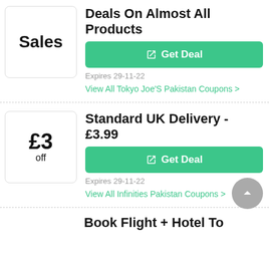[Figure (illustration): Sales badge icon - white box with 'Sales' text in bold]
Promo Codes And Deals On Almost All Products
Get Deal
Expires 29-11-22
View All Tokyo Joe'S Pakistan Coupons >
[Figure (illustration): £3 off badge icon - white box with '£3' and 'off' text]
Standard UK Delivery - £3.99
Get Deal
Expires 29-11-22
View All Infinities Pakistan Coupons >
Book Flight + Hotel To